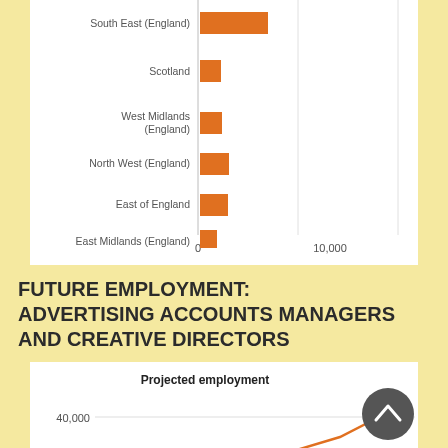[Figure (bar-chart): ]
FUTURE EMPLOYMENT: ADVERTISING ACCOUNTS MANAGERS AND CREATIVE DIRECTORS
[Figure (line-chart): Line chart showing projected employment trending upward from ~39,500 toward 40,000]